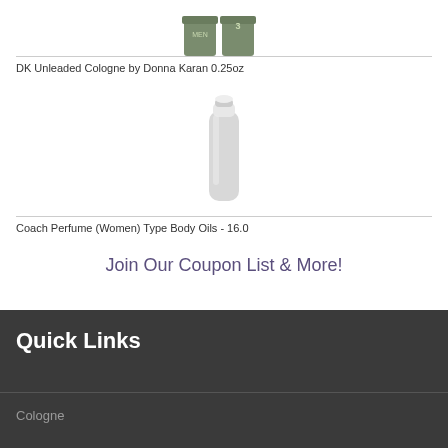[Figure (photo): Product image of DK Unleaded Cologne by Donna Karan, green/olive colored bottles]
DK Unleaded Cologne by Donna Karan 0.25oz
[Figure (photo): Product image of a plain white/grey tall cylindrical bottle of Coach Perfume body oil]
Coach Perfume (Women) Type Body Oils - 16.0
Join Our Coupon List & More!
Quick Links
Cologne